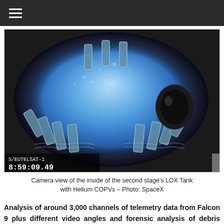≡
[Figure (photo): Camera view of the inside of the second stage's LOX Tank with Helium COPVs. Timestamp visible: S/EUTELSAT-1, 8:59:09.49. Blue illuminated circular tank interior with struts/brackets visible and dark object on the right side.]
Camera view of the inside of the second stage's LOX Tank with Helium COPVs – Photo: SpaceX
Analysis of around 3,000 channels of telemetry data from Falcon 9 plus different video angles and forensic analysis of debris recovered from the SLC-40 launch pad quickly showed that the destructive event originated on the rocket's second stage.
Further study of the 93-millisecond interval from the first sign of trouble to the loss of data showed the high-pressure Helium system was at fault.